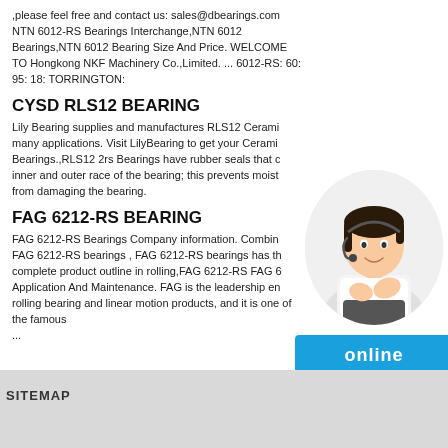,please feel free and contact us: sales@dbearings.com NTN 6012-RS Bearings Interchange,NTN 6012 Bearings,NTN 6012 Bearing Size And Price. WELCOME TO Hongkong NKF Machinery Co.,Limited. ... 6012-RS: 60: 95: 18: TORRINGTON:
CYSD RLS12 BEARING
Lily Bearing supplies and manufactures RLS12 Cerami many applications. Visit LilyBearing to get your Cerami Bearings.,RLS12 2rs Bearings have rubber seals that c inner and outer race of the bearing; this prevents moist from damaging the bearing.
[Figure (photo): Customer service representative, a woman wearing a headset, positioned in a circular frame on the right side of the page]
FAG 6212-RS BEARING
FAG 6212-RS Bearings Company information. Combin FAG 6212-RS bearings , FAG 6212-RS bearings has th complete product outline in rolling,FAG 6212-RS FAG 6 Application And Maintenance. FAG is the leadership en rolling bearing and linear motion products, and it is one of the famous ...
[Figure (other): Blue 'online' button]
SITEMAP